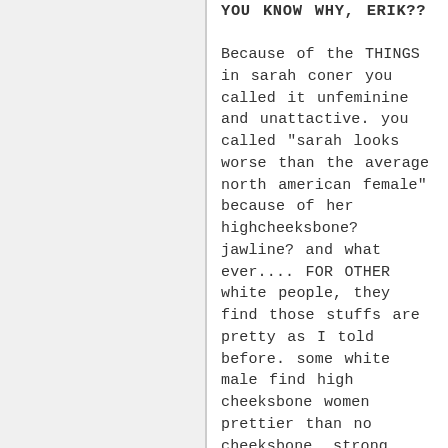YOU KNOW WHY, ERIK??

Because of the THINGS in sarah coner you called it unfeminine and unattactive. you called "sarah looks worse than the average north american female" because of her highcheeksbone? jawline? and what ever.... FOR OTHER white people, they find those stuffs are pretty as I told before. some white male find high cheeksbone women prettier than no cheeksbone, strong jawline is prettier than no jawline (even it dosen't look